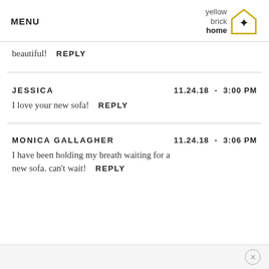MENU | yellow brick home logo
beautiful!  REPLY
JESSICA  11.24.18 - 3:00 PM
I love your new sofa!  REPLY
MONICA GALLAGHER  11.24.18 - 3:06 PM
I have been holding my breath waiting for a new sofa. can't wait!  REPLY